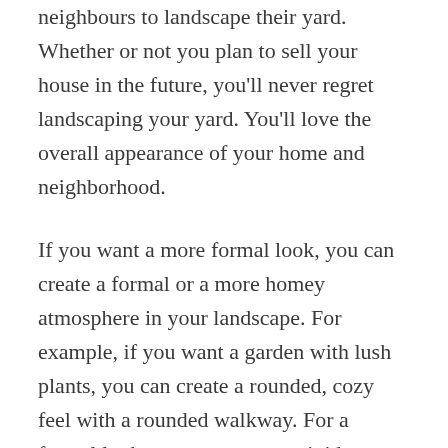neighbours to landscape their yard. Whether or not you plan to sell your house in the future, you'll never regret landscaping your yard. You'll love the overall appearance of your home and neighborhood.
If you want a more formal look, you can create a formal or a more homey atmosphere in your landscape. For example, if you want a garden with lush plants, you can create a rounded, cozy feel with a rounded walkway. For a formal look, you can create a rigid structure. Similarly, a garden with lots of straight lines conveys formality